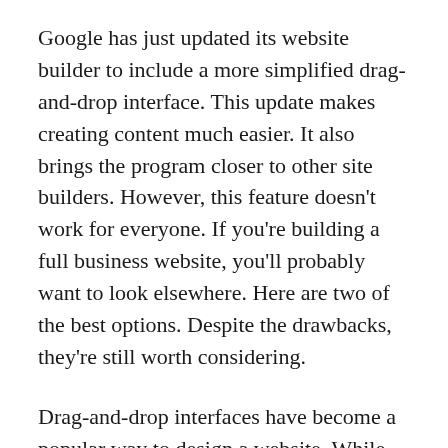Google has just updated its website builder to include a more simplified drag-and-drop interface. This update makes creating content much easier. It also brings the program closer to other site builders. However, this feature doesn't work for everyone. If you're building a full business website, you'll probably want to look elsewhere. Here are two of the best options. Despite the drawbacks, they're still worth considering.
Drag-and-drop interfaces have become a popular way to design a website. While the concept dates back to the early days of the World Wide Web, these tools are notoriously difficult to customize and maintain. Fortunately, there are several options for those who want to avoid the complexities of coding. With a few